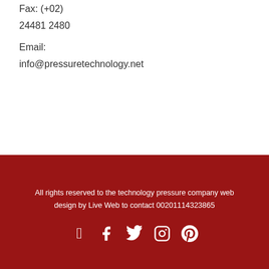Fax: (+02)
24481 2480
Email:
info@pressuretechnology.net
All rights reserved to the technology pressure company web design by Live Web to contact 00201114323865
[Figure (other): Social media icons: Facebook, Twitter, Instagram, Pinterest]